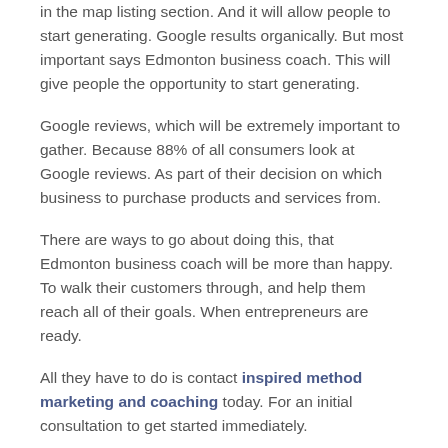in the map listing section. And it will allow people to start generating. Google results organically. But most important says Edmonton business coach. This will give people the opportunity to start generating.
Google reviews, which will be extremely important to gather. Because 88% of all consumers look at Google reviews. As part of their decision on which business to purchase products and services from.
There are ways to go about doing this, that Edmonton business coach will be more than happy. To walk their customers through, and help them reach all of their goals. When entrepreneurs are ready.
All they have to do is contact inspired method marketing and coaching today. For an initial consultation to get started immediately.